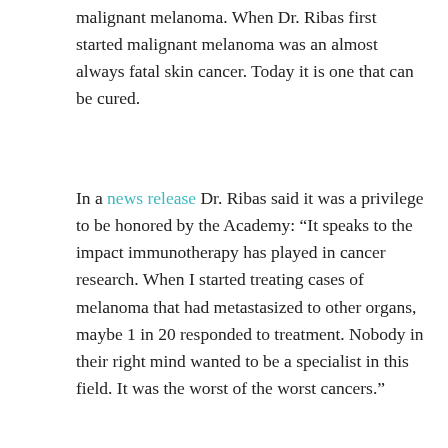malignant melanoma. When Dr. Ribas first started malignant melanoma was an almost always fatal skin cancer. Today it is one that can be cured.
In a news release Dr. Ribas said it was a privilege to be honored by the Academy: “It speaks to the impact immunotherapy has played in cancer research. When I started treating cases of melanoma that had metastasized to other organs, maybe 1 in 20 responded to treatment. Nobody in their right mind wanted to be a specialist in this field. It was the worst of the worst cancers.”
Looks like he chose his career path wisely.
[Figure (photo): Partial photo of a person (likely Dr. Ribas), showing the top of the head with dark hair, against a blurred light blue/grey background. Only the upper portion of the head is visible as the image is cropped at the bottom of the page.]